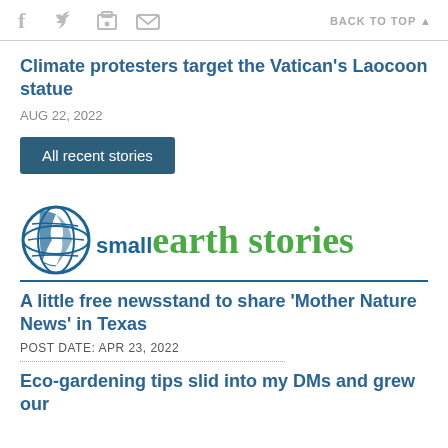f [twitter] [print] [email]   BACK TO TOP ▲
Climate protesters target the Vatican's Laocoon statue
AUG 22, 2022
All recent stories
[Figure (logo): Small Earth Stories logo: globe icon on left, 'small' in blue sans-serif font, 'earth stories' in large green serif font, with a blue underline]
A little free newsstand to share 'Mother Nature News' in Texas
POST DATE: APR 23, 2022
Eco-gardening tips slid into my DMs and grew our